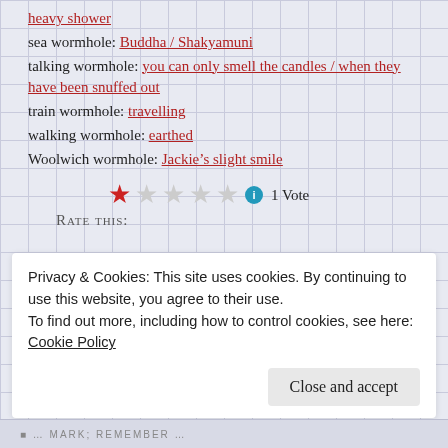heavy shower
sea wormhole: Buddha / Shakyamuni
talking wormhole: you can only smell the candles / when they have been snuffed out
train wormhole: travelling
walking wormhole: earthed
Woolwich wormhole: Jackie’s slight smile
[Figure (other): Star rating widget showing 1 out of 5 stars filled (red), 4 empty grey stars, info icon, and text '1 Vote']
Rate this:
Privacy & Cookies: This site uses cookies. By continuing to use this website, you agree to their use.
To find out more, including how to control cookies, see here: Cookie Policy
… MARK; REMEMBER …